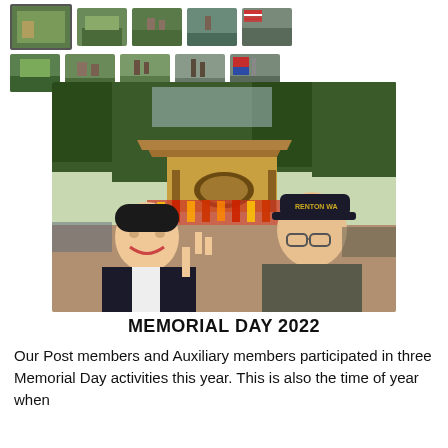[Figure (photo): Two rows of thumbnail photos showing outdoor scenes, people at a park, and a flag display, part of a photo gallery for Memorial Day 2022.]
[Figure (photo): Main photo showing two men posing for a selfie at an outdoor event. One man is wearing a dark suit and smiling broadly, making a peace sign. The other is an older man wearing an American Legion cap that reads 'RENTON WA'. In the background is a Chinese garden gate, colorful performers in red and yellow costumes, and green trees.]
MEMORIAL DAY 2022
Our Post members and Auxiliary members participated in three Memorial Day activities this year. This is also the time of year when